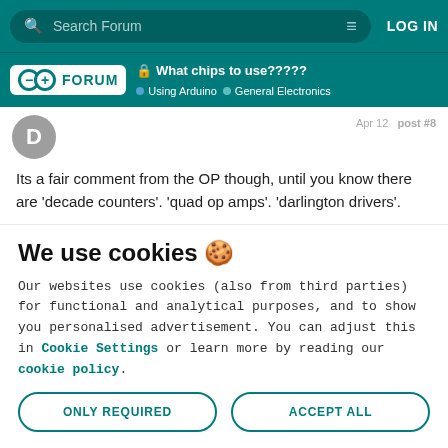Search Forum | LOG IN
What chips to use????? | Using Arduino | General Electronics
Its a fair comment from the OP though, until you know there are 'decade counters'. 'quad op amps'. 'darlington drivers'.
We use cookies 🍪
Our websites use cookies (also from third parties) for functional and analytical purposes, and to show you personalised advertisement. You can adjust this in Cookie Settings or learn more by reading our cookie policy.
ONLY REQUIRED | ACCEPT ALL